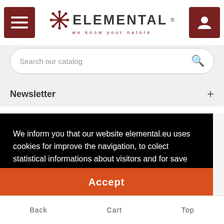[Figure (logo): Elemental brand logo with snowflake/star icon and text 'ELEMENTAL we know your nature']
Search our catalog
Newsletter +
We inform you that our website elemental.eu uses cookies for improve the navigation, to colect statistical informations about visitors and for save their navigation preferences and for site improvement for our visitors.
Learn more
Accept
Back   Cart   Top